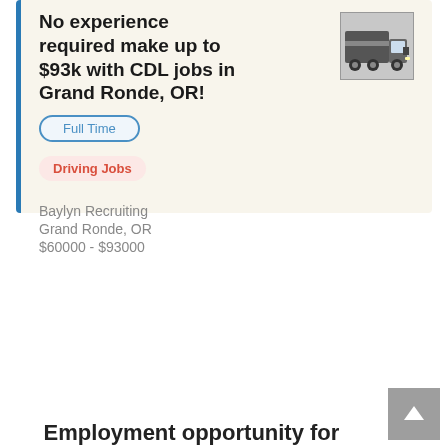No experience required make up to $93k with CDL jobs in Grand Ronde, OR!
[Figure (photo): Photo of a semi-truck (18-wheeler) front view]
Full Time
Driving Jobs
Baylyn Recruiting
Grand Ronde, OR
$60000 - $93000
+ Show More Jobs
Employment opportunity for